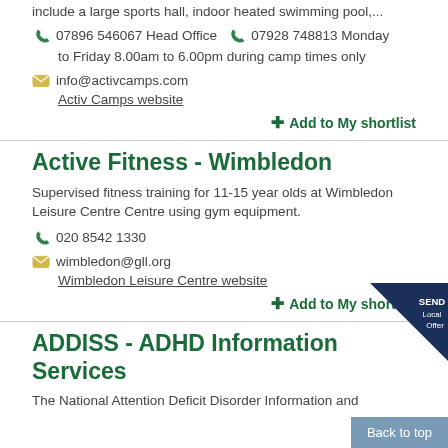include a large sports hall, indoor heated swimming pool,...
07896 546067 Head Office  07928 748813 Monday to Friday 8.00am to 6.00pm during camp times only
info@activcamps.com
Activ Camps website
+ Add to My shortlist
Active Fitness - Wimbledon
Supervised fitness training for 11-15 year olds at Wimbledon Leisure Centre Centre using gym equipment.
020 8542 1330
wimbledon@gll.org
Wimbledon Leisure Centre website
+ Add to My shortlist
ADDISS - ADHD Information Services
[Figure (other): SEND Local Offer badge in dark navy/blue triangular corner banner]
The National Attention Deficit Disorder Information and
Back to top